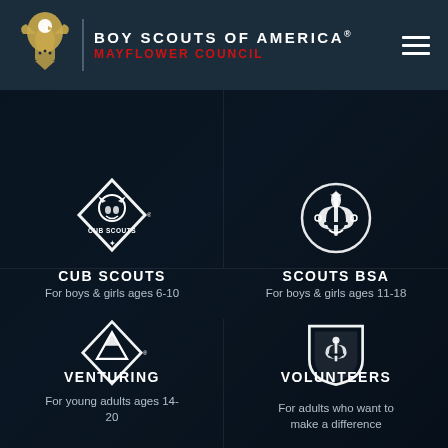BOY SCOUTS OF AMERICA MAYFLOWER COUNCIL
[Figure (logo): Boy Scouts of America Mayflower Council logo with eagle/fleur-de-lis emblem]
[Figure (logo): Cub Scouts diamond-shaped logo with wolf head]
CUB SCOUTS
For boys & girls ages 6-10
[Figure (logo): Scouts BSA fleur-de-lis emblem]
SCOUTS BSA
For boys & girls ages 11-18
[Figure (logo): Venturing diamond logo with mountain peak]
VENTURING
For young adults ages 14-20
[Figure (logo): Volunteers shield/badge logo with fleur-de-lis]
VOLUNTEERS
For adults who want to make a difference